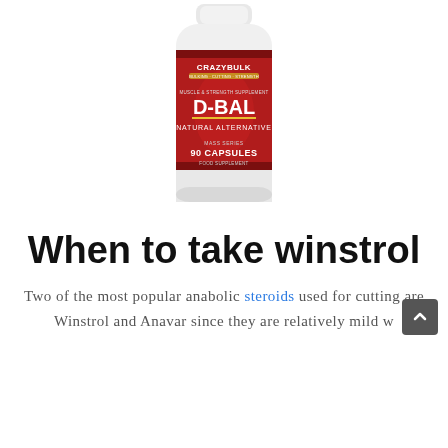[Figure (photo): CrazyBulk D-BAL supplement bottle – a white plastic bottle with a red label showing a muscular torso, branded 'CRAZYBULK', product name 'D-BAL', subtitle 'MUSCLE & STRENGTH SUPPLEMENT', 'NATURAL ALTERNATIVE', 'MASS SERIES', '90 CAPSULES', 'FOOD SUPPLEMENT']
When to take winstrol
Two of the most popular anabolic steroids used for cutting are Winstrol and Anavar since they are relatively mild w